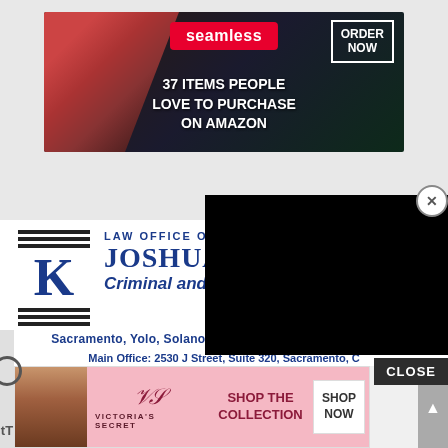[Figure (screenshot): Seamless food delivery advertisement banner showing pizza, seamless logo in red, ORDER NOW button, and text '37 ITEMS PEOPLE LOVE TO PURCHASE ON AMAZON']
[Figure (screenshot): Black popup overlay video player covering part of the law firm advertisement]
[Figure (logo): Law Office of Joshua K logo with stylized K letter between horizontal bars]
LAW OFFICE OF JOSHUA
Criminal and DUI Defense
Sacramento, Yolo, Solano, Placer and El Dorado Counties
Main Office: 2530 J Street, Suite 320, Sacramento, C
[Figure (screenshot): Victoria's Secret advertisement banner showing model, VS logo, 'SHOP THE COLLECTION' text, and 'SHOP NOW' button on pink background]